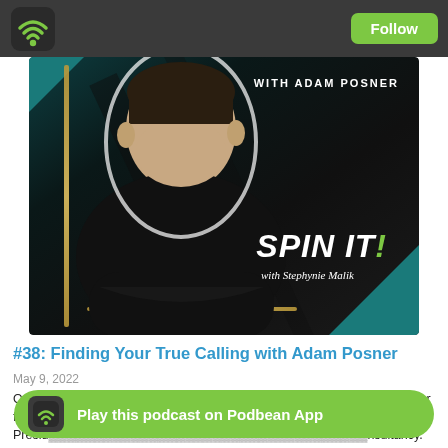[Figure (screenshot): Podcast app top bar with green wifi/Podbean logo and Follow button]
[Figure (photo): Podcast cover art for 'Spin It! with Stephynie Malik' featuring Adam Posner, a man in a black t-shirt against a dark background with teal and gold accents, text reads 'WITH ADAM POSNER' and 'SPIN IT! with Stephynie Malik']
#38: Finding Your True Calling with Adam Posner
May 9, 2022
On this weeks episode of Spin It, Stephynie enjoyed speaking with her dear fr... Founder and Presid... ...nsultancy.
[Figure (other): Podbean App play banner: green rounded rectangle with Podbean icon and text 'Play this podcast on Podbean App']